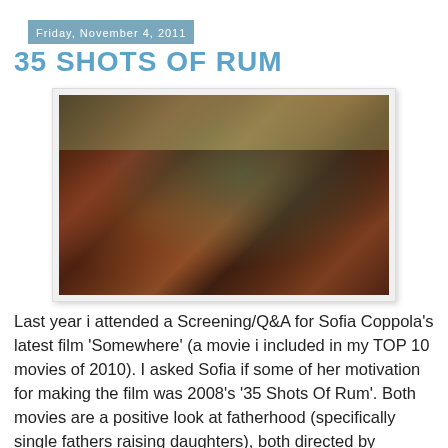Friday, November 4, 2011
35 SHOTS OF RUM
[Figure (photo): A man and woman embracing in a kitchen setting, film still from '35 Shots of Rum']
Last year i attended a Screening/Q&A for Sofia Coppola's latest film 'Somewhere' (a movie i included in my TOP 10 movies of 2010). I asked Sofia if some of her motivation for making the film was 2008's '35 Shots Of Rum'. Both movies are a positive look at fatherhood (specifically single fathers raising daughters), both directed by women, and they both have the same calming atmosphere. I had high hopes this conversation would open up a nice chain of dialogue between her and I. I know the term "female director" is silly, but these last few years it's been almost impossible to not recognize that women have been putting in serious work